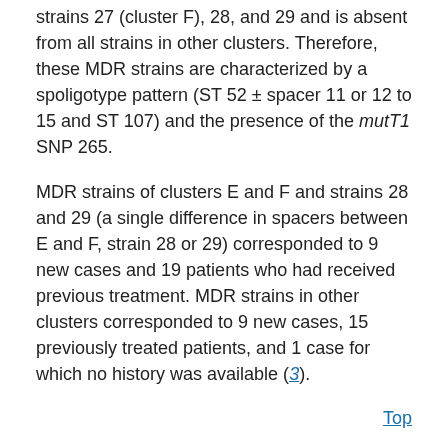strains 27 (cluster F), 28, and 29 and is absent from all strains in other clusters. Therefore, these MDR strains are characterized by a spoligotype pattern (ST 52 ± spacer 11 or 12 to 15 and ST 107) and the presence of the mutT1 SNP 265.
MDR strains of clusters E and F and strains 28 and 29 (a single difference in spacers between E and F, strain 28 or 29) corresponded to 9 new cases and 19 patients who had received previous treatment. MDR strains in other clusters corresponded to 9 new cases, 15 previously treated patients, and 1 case for which no history was available (3).
Top
Conclusions